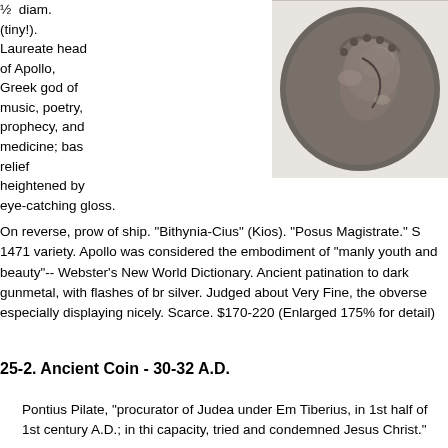½  diam. (tiny!). Laureate head of Apollo, Greek god of music, poetry, prophecy, and medicine; bas relief heightened by eye-catching gloss.
[Figure (photo): Ancient coin showing laureate head of Apollo in bas relief, dark gunmetal patination with flashes of silver]
On reverse, prow of ship. "Bithynia-Cius" (Kios). "Posus Magistrate." S 1471 variety. Apollo was considered the embodiment of "manly youth and beauty"-- Webster's New World Dictionary. Ancient patination to dark gunmetal, with flashes of br silver. Judged about Very Fine, the obverse especially displaying nicely. Scarce. $170-220 (Enlarged 175% for detail)
25-2. Ancient Coin - 30-32 A.D.
Pontius Pilate, "procurator of Judea under Em Tiberius, in 1st half of 1st century A.D.; in thi capacity, tried and condemned Jesus Christ."